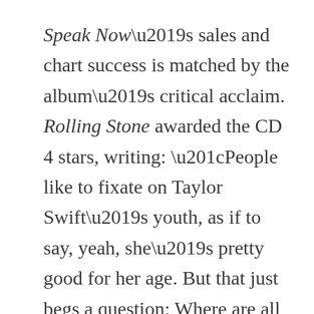Speak Now's sales and chart success is matched by the album's critical acclaim. Rolling Stone awarded the CD 4 stars, writing: “People like to fixate on Taylor Swift’s youth, as if to say, yeah, she’s pretty good for her age. But that just begs a question: Where are all the older people who are supposedly making better pop